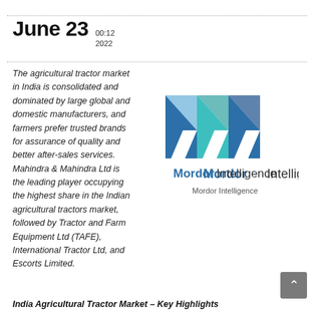June 23  00:12  2022
The agricultural tractor market in India is consolidated and dominated by large global and domestic manufacturers, and farmers prefer trusted brands for assurance of quality and better after-sales services. Mahindra & Mahindra Ltd is the leading player occupying the highest share in the Indian agricultural tractors market, followed by Tractor and Farm Equipment Ltd (TAFE), International Tractor Ltd, and Escorts Limited.
[Figure (logo): Mordor Intelligence logo — three stylized M-shaped chevrons in blue and teal colors above the text 'Mordor Intelligence']
Mordor Intelligence
India Agricultural Tractor Market – Key Highlights